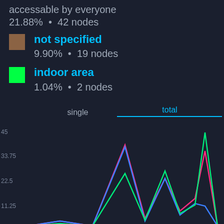accessable by everyone
21.88% • 42 nodes
not specified
9.90% • 19 nodes
indoor area
1.04% • 2 nodes
[Figure (line-chart): Multi-line chart with tabs 'single' and 'total' (total underlined in blue). Y-axis labels: 45, 33.75, 22.5, 11.25. Three colored lines: pink/magenta, blue, green showing various peaks.]